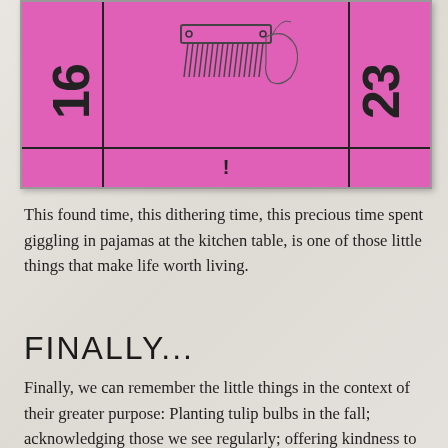[Figure (illustration): A pink calendar or game board image showing numbers 16 and 23 rotated sideways on the left and right sides respectively, with a sketch of a comb or brush at the top center, vertical and horizontal dividing lines, and an exclamation mark at the bottom center.]
This found time, this dithering time, this precious time spent giggling in pajamas at the kitchen table, is one of those little things that make life worth living.
FINALLY...
Finally, we can remember the little things in the context of their greater purpose: Planting tulip bulbs in the fall; acknowledging those we see regularly; offering kindness to strangers; incorporating pride